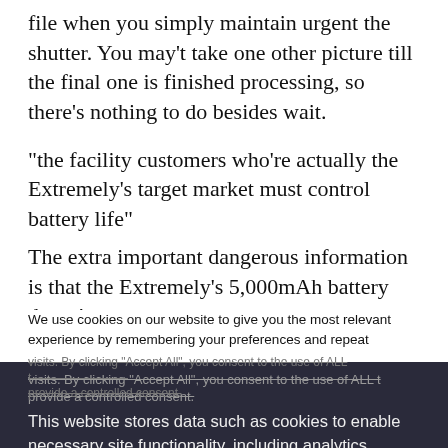file when you simply maintain urgent the shutter. You may't take one other picture till the final one is finished processing, so there's nothing to do besides wait.
“the facility customers who’re actually the Extremely’s target market must control battery life”
The extra important dangerous information is that the Extremely’s 5,000mAh battery doesn’t carry
We use cookies on our website to give you the most relevant experience by remembering your preferences and repeat visits. By clicking “Accept All”, you consent to the use of ALL the provide a controlled consent.
This website stores data such as cookies to enable necessary site functionality, including analytics, targeting, and personalization. By remaining on this website you indicate your consent Cookie Policy